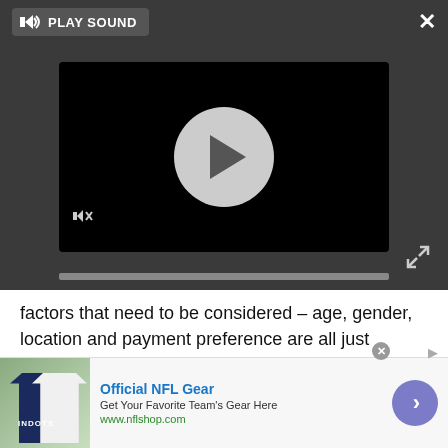[Figure (screenshot): Video player overlay with dark background, play button circle, sound controls, progress bar, and close/expand icons. Shows 'PLAY SOUND' button at top left and X close button at top right.]
factors that need to be considered – age, gender, location and payment preference are all just examples of these. Merchants need to properly consider the best way to make their payment systems accommodate their customer base – otherwise, there will only be a competitor offering the same product, with a more preferred payment method.
Frank Breuss is Director of International Sales at The PPRO Group
[Figure (screenshot): Advertisement banner for Official NFL Gear showing team jerseys, text 'Official NFL Gear', 'Get Your Favorite Team's Gear Here', 'www.nflshop.com', with a purple arrow button on the right.]